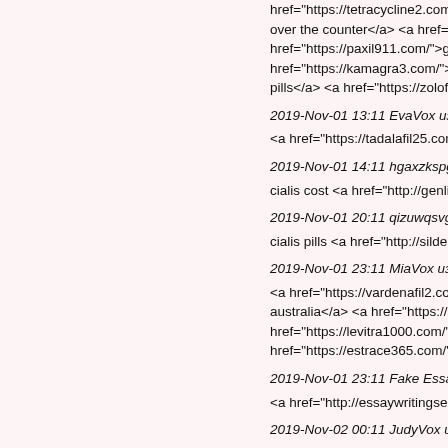href="https://tetracycline2.com/">tetracycline over the counter</a> <a href="https://stratter... href="https://paxil911.com/">generic paxil for... href="https://kamagra3.com/">kamagra 100m... pills</a> <a href="https://zoloft2.com/">zoloft...
2019-Nov-01 13:11 EvaVox из [bettie@probb...
<a href="https://tadalafil25.com/">tadalafil on...
2019-Nov-01 14:11 hgaxzkspgf из [vbumvrup...
cialis cost <a href="http://genlipitor.com/">ast...
2019-Nov-01 20:11 qizuwqsvge из [oncjiues...
cialis pills <a href="http://sildenafilfas.com/">s...
2019-Nov-01 23:11 MiaVox из [willette@prob...
<a href="https://vardenafil2.com/">vardenafil... australia</a> <a href="https://prednisone100... href="https://levitra1000.com/">buy levitra</a... href="https://estrace365.com/">estrace 0.5</...
2019-Nov-01 23:11 Fake Essay Writer из [ko...
<a href="http://essaywritingservice1.com/">w...
2019-Nov-02 00:11 JudyVox из [coralee@pre...
<a href="http://sildenafil15.com/">buy sildena... href="http://diflucan2019.com/">diflucan over... pills online</a> <a href="http://kamagra3.com...